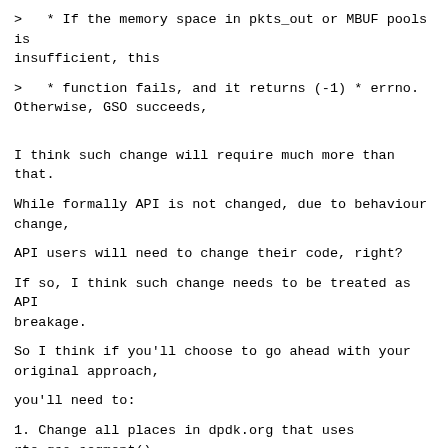>   * If the memory space in pkts_out or MBUF pools is insufficient, this
>   * function fails, and it returns (-1) * errno. Otherwise, GSO succeeds,
I think such change will require much more than that.
While formally API is not changed, due to behaviour change,
API users will need to change their code, right?
If so, I think such change needs to be treated as API breakage.
So I think if you'll choose to go ahead with your original approach,
you'll need to:
1. Change all places in dpdk.org that uses rte_gso_segment()
to make them work correctly with new behaviour.
2. Usually such change has to be declared at least one release in advance via deprecation notice.